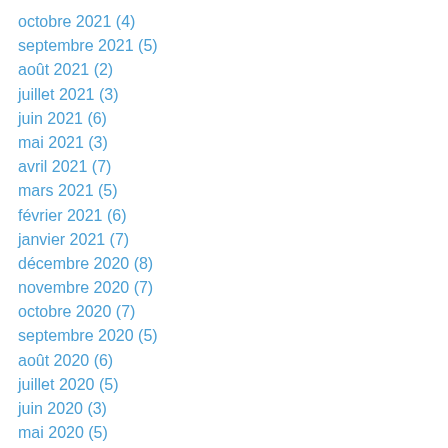octobre 2021 (4)
septembre 2021 (5)
août 2021 (2)
juillet 2021 (3)
juin 2021 (6)
mai 2021 (3)
avril 2021 (7)
mars 2021 (5)
février 2021 (6)
janvier 2021 (7)
décembre 2020 (8)
novembre 2020 (7)
octobre 2020 (7)
septembre 2020 (5)
août 2020 (6)
juillet 2020 (5)
juin 2020 (3)
mai 2020 (5)
avril 2020 (4)
mars 2020 (3)